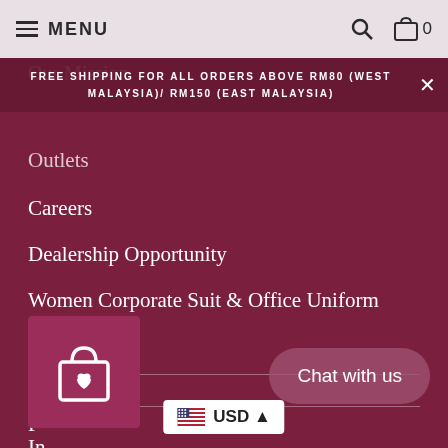MENU  🔍  🛒 0
FREE SHIPPING FOR ALL ORDERS ABOVE RM80 (WEST MALAYSIA)/ RM150 (EAST MALAYSIA)
Outlets
Careers
Dealership Opportunity
Women Corporate Suit & Office Uniform
Media
SOCIAL
F
In
[Figure (illustration): Shopping bag icon with heart on dark pink square background]
Chat with us
USD ▲